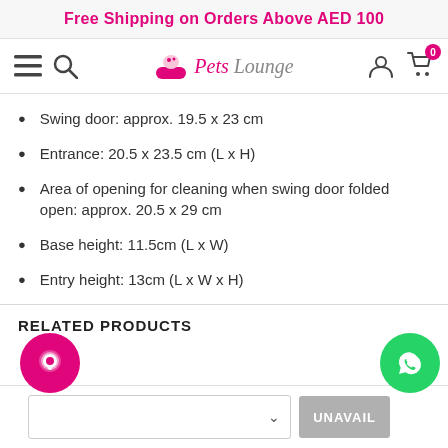Free Shipping on Orders Above AED 100
[Figure (logo): Pets Lounge logo with navigation icons (hamburger menu, search, user account, shopping cart with 0 badge)]
Swing door: approx. 19.5 x 23 cm
Entrance: 20.5 x 23.5 cm (L x H)
Area of opening for cleaning when swing door folded open: approx. 20.5 x 29 cm
Base height: 11.5cm (L x W)
Entry height: 13cm (L x W x H)
RELATED PRODUCTS